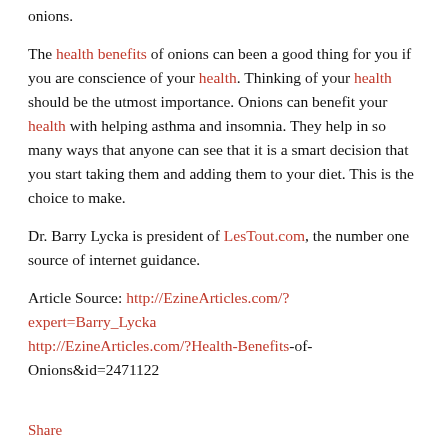onions.
The health benefits of onions can been a good thing for you if you are conscience of your health. Thinking of your health should be the utmost importance. Onions can benefit your health with helping asthma and insomnia. They help in so many ways that anyone can see that it is a smart decision that you start taking them and adding them to your diet. This is the choice to make.
Dr. Barry Lycka is president of LesTout.com, the number one source of internet guidance.
Article Source: http://EzineArticles.com/?expert=Barry_Lycka http://EzineArticles.com/?Health-Benefits-of-Onions&id=2471122
Share